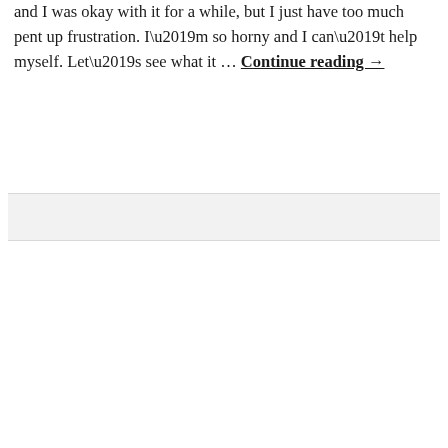and I was okay with it for a while, but I just have too much pent up frustration. I’m so horny and I can’t help myself. Let’s see what it … Continue reading →